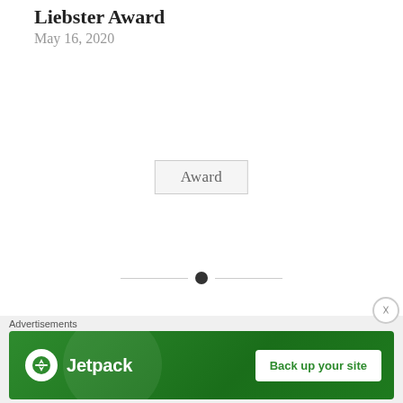Liebster Award
May 16, 2020
Award
[Figure (other): Horizontal divider with a centered filled circle dot]
PREVIOUS POST
My Final Post As A Blogger
NEXT POST
Advertisements
[Figure (other): Jetpack advertisement banner with logo and 'Back up your site' button on green background]